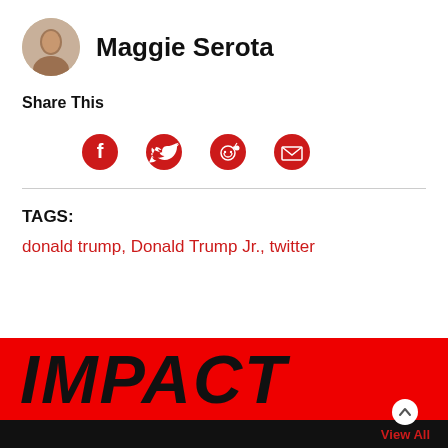[Figure (photo): Circular avatar photo of Maggie Serota]
Maggie Serota
Share This
[Figure (infographic): Social share icons: Facebook, Twitter, Reddit, Email — all in red on white circles]
TAGS:
donald trump, Donald Trump Jr., twitter
[Figure (infographic): IMPACT banner — red and black background with bold italic IMPACT text and View All button]